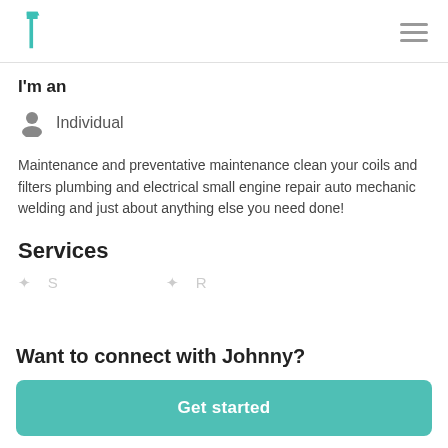Navigation bar with teal hammer logo and hamburger menu
I'm an
Individual
Maintenance and preventative maintenance clean your coils and filters plumbing and electrical small engine repair auto mechanic welding and just about anything else you need done!
Services
Want to connect with Johnny?
Get started